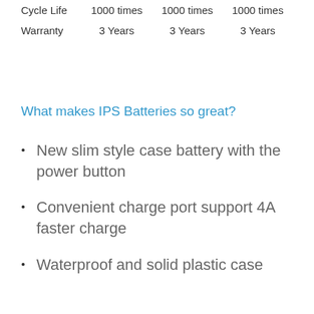| Cycle Life | 1000 times | 1000 times | 1000 times |
| Warranty | 3 Years | 3 Years | 3 Years |
What makes IPS Batteries so great?
New slim style case battery with the power button
Convenient charge port support 4A faster charge
Waterproof and solid plastic case